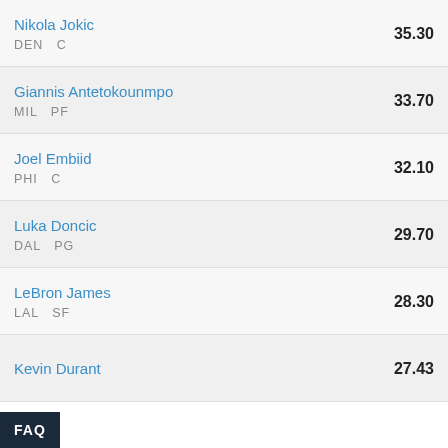Nikola Jokic DEN C 35.30
Giannis Antetokounmpo MIL PF 33.70
Joel Embiid PHI C 32.10
Luka Doncic DAL PG 29.70
LeBron James LAL SF 28.30
Kevin Durant 27.43
FAQ
What Makes a Trade Fair?
LATEST FROM FSP